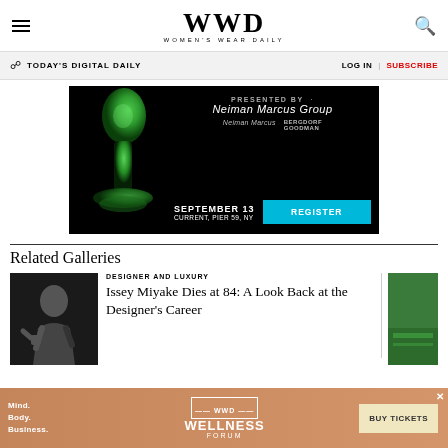WWD — Women's Wear Daily
TODAY'S DIGITAL DAILY | LOG IN | SUBSCRIBE
[Figure (infographic): Black background ad banner: PRESENTED BY Neiman Marcus Group, Neiman Marcus and Bergdorf Goodman logos. SEPTEMBER 13, CURRENT, PIER 59, NY with cyan REGISTER button]
Related Galleries
[Figure (photo): Black and white photo of a man (Issey Miyake) raising his fist]
DESIGNER AND LUXURY
Issey Miyake Dies at 84: A Look Back at the Designer's Career
[Figure (photo): Green tennis court photo on right side]
[Figure (infographic): Bottom advertisement: Mind. Body. Business. — WWD WELLNESS FORUM — BUY TICKETS button]